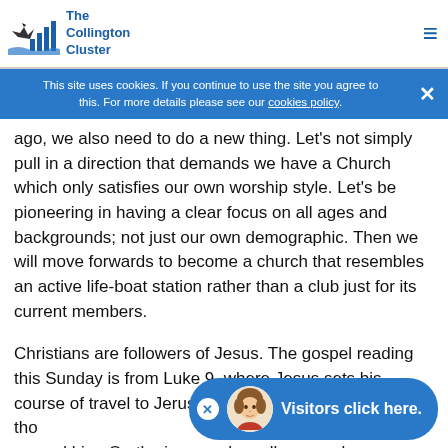The Collington Cluster
This site uses cookies. If you continue to use the site you agree to this. For more details please see our cookies policy.
ago, we also need to do a new thing. Let's not simply pull in a direction that demands we have a Church which only satisfies our own worship style. Let's be pioneering in having a clear focus on all ages and backgrounds; not just our own demographic. Then we will move forwards to become a church that resembles an active life-boat station rather than a club just for its current members.
Christians are followers of Jesus. The gospel reading this Sunday is from Luke 9, where Jesus sets his course of travel to Jerusalem, even though it upsets those around him. On the journey, he calls several people to 'follow him'. One delays and fails to see the urgency of this call. Another is told there is no turning back on this road. There are few certainties on this road.